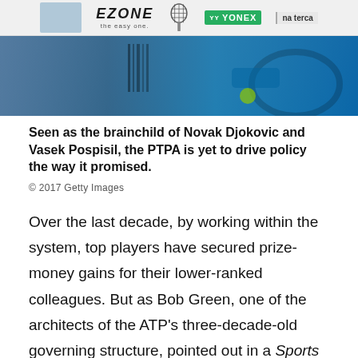[Figure (photo): Advertisement banner featuring tennis players and EZONE/Yonex branding]
[Figure (photo): Tennis player in action on a blue court, cropped photo strip]
Seen as the brainchild of Novak Djokovic and Vasek Pospisil, the PTPA is yet to drive policy the way it promised.
© 2017 Getty Images
Over the last decade, by working within the system, top players have secured prize-money gains for their lower-ranked colleagues. But as Bob Green, one of the architects of the ATP's three-decade-old governing structure, pointed out in a Sports Business Journal article last year, that the system was originally meant to be run by the players rather than shared with tournament owners. Djokovic, after